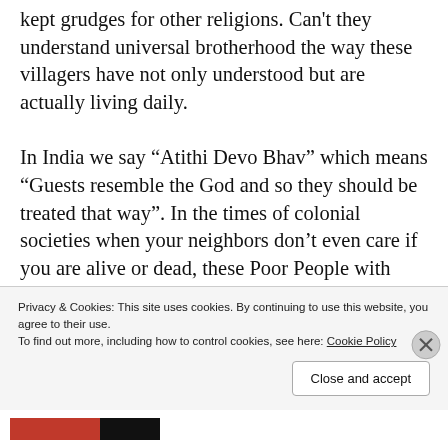kept grudges for other religions. Can't they understand universal brotherhood the way these villagers have not only understood but are actually living daily.

In India we say “Atithi Devo Bhav” which means “Guests resemble the God and so they should be treated that way”. In the times of colonial societies when your neighbors don’t even care if you are alive or dead, these Poor People with Rich Hospitality and even Richer Hearts depicted what we had forgotten about
Privacy & Cookies: This site uses cookies. By continuing to use this website, you agree to their use.
To find out more, including how to control cookies, see here: Cookie Policy
Close and accept